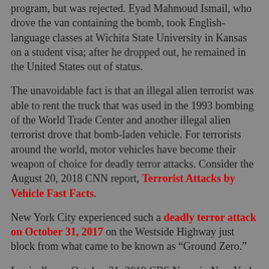program, but was rejected. Eyad Mahmoud Ismail, who drove the van containing the bomb, took English-language classes at Wichita State University in Kansas on a student visa; after he dropped out, he remained in the United States out of status.
The unavoidable fact is that an illegal alien terrorist was able to rent the truck that was used in the 1993 bombing of the World Trade Center and another illegal alien terrorist drove that bomb-laden vehicle. For terrorists around the world, motor vehicles have become their weapon of choice for deadly terror attacks. Consider the August 20, 2018 CNN report, Terrorist Attacks by Vehicle Fast Facts.
New York City experienced such a deadly terror attack on October 31, 2017 on the Westside Highway just block from what came to be known as "Ground Zero."
Ironically, on October 31, 2019 CBS News in New York reported, 2 Years Later, NYPD Says Halloween Terror Attack Along West Side Highway Still Fresh On Its Mind.